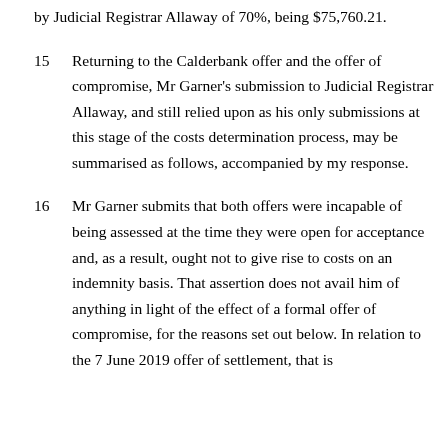by Judicial Registrar Allaway of 70%, being $75,760.21.
15    Returning to the Calderbank offer and the offer of compromise, Mr Garner's submission to Judicial Registrar Allaway, and still relied upon as his only submissions at this stage of the costs determination process, may be summarised as follows, accompanied by my response.
16    Mr Garner submits that both offers were incapable of being assessed at the time they were open for acceptance and, as a result, ought not to give rise to costs on an indemnity basis. That assertion does not avail him of anything in light of the effect of a formal offer of compromise, for the reasons set out below. In relation to the 7 June 2019 offer of settlement, that is